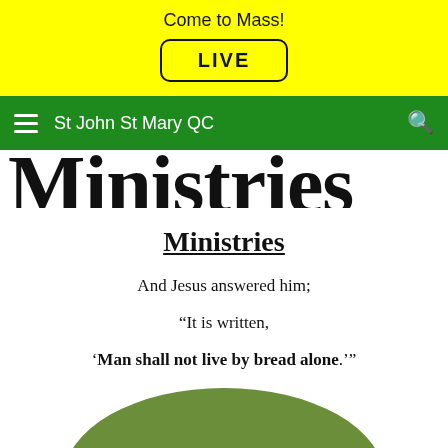Come to Mass!
LIVE
St John St Mary QC
Ministries
Ministries
And Jesus answered him;

“It is written,

‘Man shall not live by bread alone.’”
[Figure (illustration): Green arc/dome shape at bottom of page]